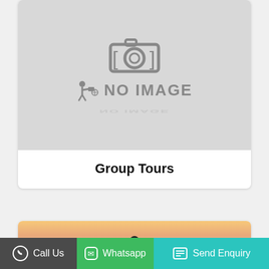[Figure (illustration): No image placeholder with camera icon and photographer silhouette, grey background]
Group Tours
[Figure (photo): Sunset photo with silhouettes of people against orange and pink sky]
Call Us
Whatsapp
Send Enquiry